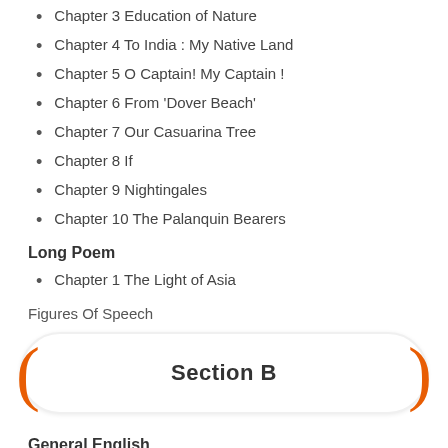Chapter 3 Education of Nature
Chapter 4 To India : My Native Land
Chapter 5 O Captain! My Captain !
Chapter 6 From 'Dover Beach'
Chapter 7 Our Casuarina Tree
Chapter 8 If
Chapter 9 Nightingales
Chapter 10 The Palanquin Bearers
Long Poem
Chapter 1 The Light of Asia
Figures Of Speech
Section B
General English